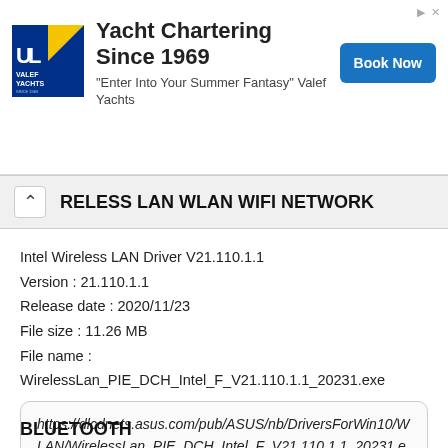[Figure (advertisement): Valef Yachts advertisement banner with logo, text 'Yacht Chartering Since 1969', tagline '"Enter Into Your Summer Fantasy" Valef Yachts', and a 'Book Now' blue button.]
RELESS LAN WLAN WIFI NETWORK
Intel Wireless LAN Driver V21.110.1.1
Version : 21.110.1.1
Release date : 2020/11/23
File size : 11.26 MB
File name :
WirelessLan_PIE_DCH_Intel_F_V21.110.1.1_20231.exe
https://dlcdnets.asus.com/pub/ASUS/nb/DriversForWin10/WLAN/WirelessLan_PIE_DCH_Intel_F_V21.110.1.1_20231.exe
BLUETOOTH